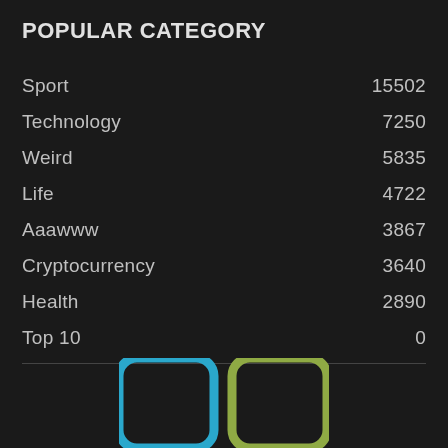POPULAR CATEGORY
Sport    15502
Technology    7250
Weird    5835
Life    4722
Aaawww    3867
Cryptocurrency    3640
Health    2890
Top 10    0
[Figure (illustration): Two rounded-rectangle icon frames, one in blue and one in olive/green, partially visible at the bottom of the page]